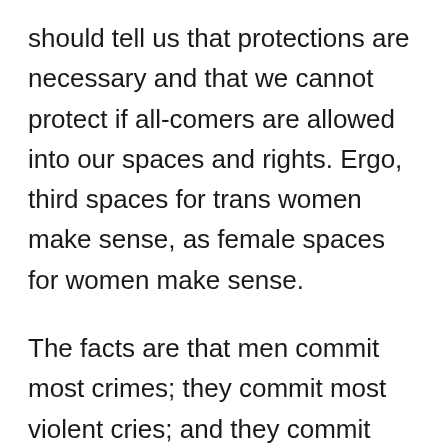should tell us that protections are necessary and that we cannot protect if all-comers are allowed into our spaces and rights. Ergo, third spaces for trans women make sense, as female spaces for women make sense.
The facts are that men commit most crimes; they commit most violent cries; and they commit most rapes and sexual assaults – hence the drive to change the data collection procedures where men who rape can